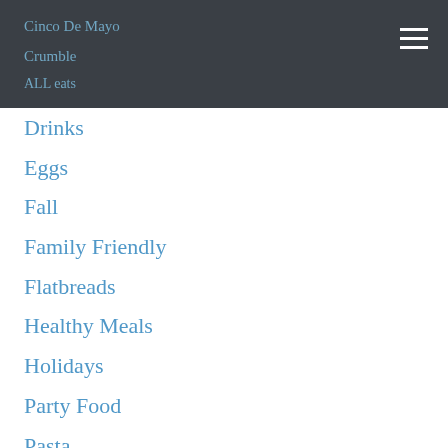Cinco De Mayo
Crumble
ALL eats
Drinks
Eggs
Fall
Family Friendly
Flatbreads
Healthy Meals
Holidays
Party Food
Pasta
Pizza
Pork
Salads
Salt Style Shoot
Sauces
Seafood
Side Dishes
Spring